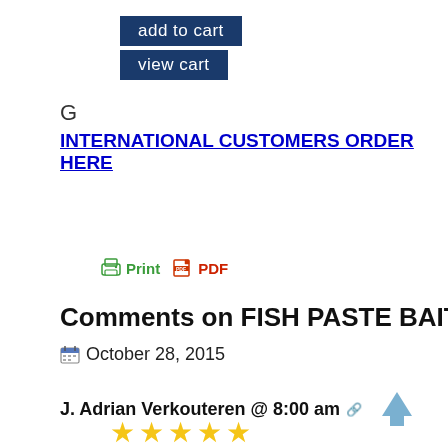[Figure (other): Dark navy blue 'add to cart' button]
[Figure (other): Dark navy blue 'view cart' button]
G
INTERNATIONAL CUSTOMERS ORDER HERE
[Figure (other): Print and PDF icons with labels]
Comments on FISH PASTE BAIT 16 O
October 28, 2015
J. Adrian Verkouteren @ 8:00 am
[Figure (other): Five gold star rating]